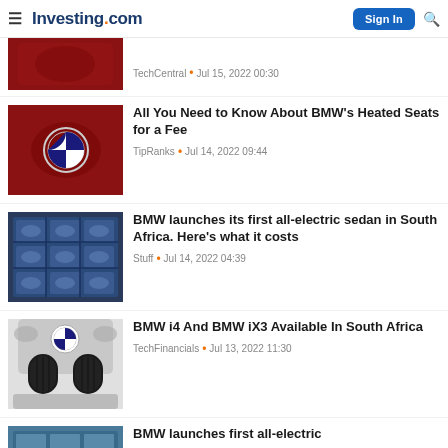≡ Investing.com  [Sign In] [🔍]
TechCentral • Jul 15, 2022 00:30
All You Need to Know About BMW's Heated Seats for a Fee
TipRanks • Jul 14, 2022 09:44
BMW launches its first all-electric sedan in South Africa. Here's what it costs
Stuff • Jul 14, 2022 04:39
BMW i4 And BMW iX3 Available In South Africa
TechFinancials • Jul 13, 2022 11:30
BMW launches first all-electric